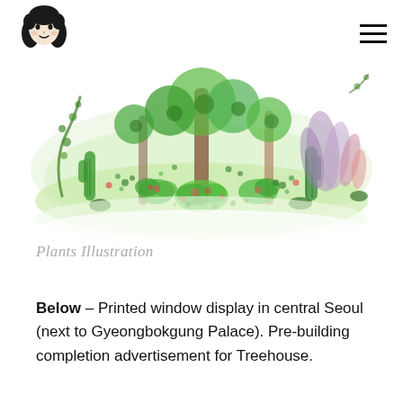[Logo: illustrated girl face] [Hamburger menu icon]
[Figure (illustration): A colorful watercolor-style illustration of a lush, dense group of plants, cacti, and tropical foliage in various shades of green, with accents of pink, red, and purple. The plants are stylized and whimsical against a soft white/light green background.]
Plants Illustration
Below – Printed window display in central Seoul (next to Gyeongbokgung Palace). Pre-building completion advertisement for Treehouse.